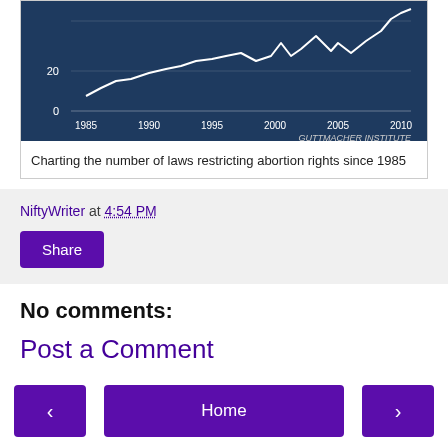[Figure (line-chart): Line chart from Guttmacher Institute showing number of laws restricting abortion rights since 1985, with y-axis values 0 and 20 visible, and x-axis from 1985 to 2010]
Charting the number of laws restricting abortion rights since 1985
NiftyWriter at 4:54 PM
Share
No comments:
Post a Comment
Home
View web version
Powered by Blogger.